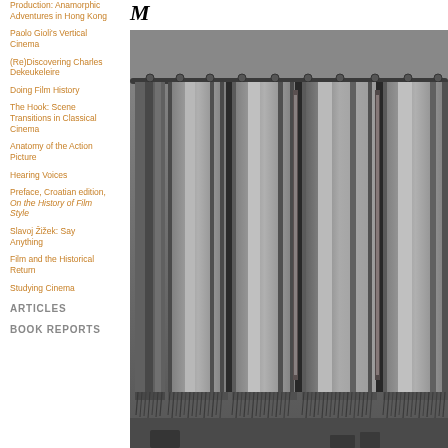Production: Anamorphic Adventures in Hong Kong
Paolo Gioli's Vertical Cinema
(Re)Discovering Charles Dekeukeleire
Doing Film History
The Hook: Scene Transitions in Classical Cinema
Anatomy of the Action Picture
Hearing Voices
Preface, Croatian edition, On the History of Film Style
Slavoj Žižek: Say Anything
Film and the Historical Return
Studying Cinema
ARTICLES
BOOK REPORTS
M
[Figure (photo): Black and white photograph showing hanging curtains or drapes on a curtain rod. The curtains appear to have fringe at the bottom. The scene looks like an interior room setting.]